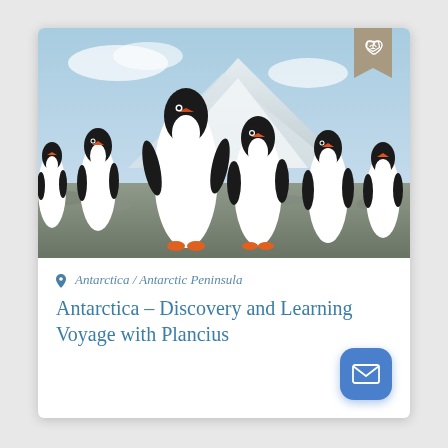[Figure (photo): Group of Gentoo penguins standing on rocky ground with snow-covered mountains in the background under a blue sky.]
Antarctica / Antarctic Peninsula
Antarctica – Discovery and Learning Voyage with Plancius